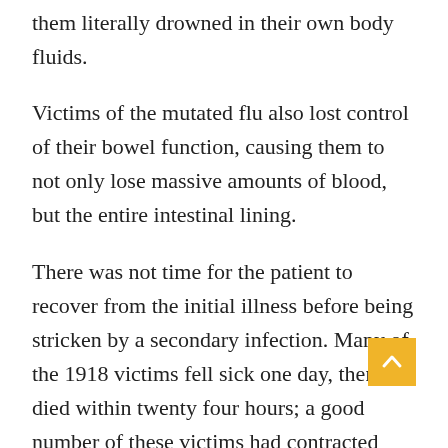them literally drowned in their own body fluids.
Victims of the mutated flu also lost control of their bowel function, causing them to not only lose massive amounts of blood, but the entire intestinal lining.
There was not time for the patient to recover from the initial illness before being stricken by a secondary infection. Many of the 1918 victims fell sick one day, then died within twenty four hours; a good number of these victims had contracted pneumonia within one day of coming down with the flu.
Related Posts: